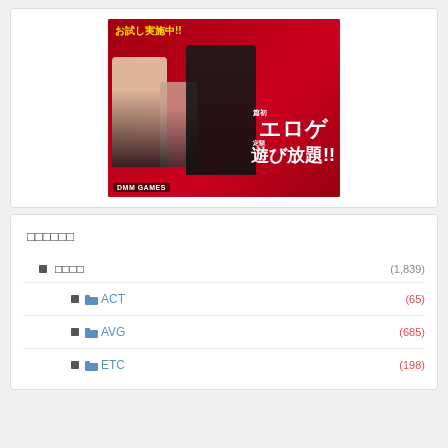[Figure (illustration): DMM GAMES advertisement banner with anime characters on red background, Japanese text エロゲ定額遊び放題!! (unlimited eroge for flat rate), small text at top]
□□□□□□
□□□□ (1,839)
📁 ACT (65)
📁 AVG (685)
📁 ETC (198)